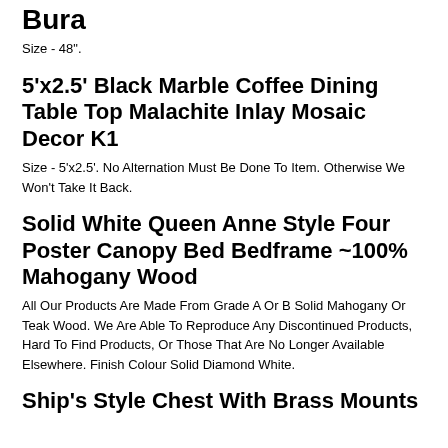Bura
Size - 48".
5'x2.5' Black Marble Coffee Dining Table Top Malachite Inlay Mosaic Decor K1
Size - 5'x2.5'. No Alternation Must Be Done To Item. Otherwise We Won't Take It Back.
Solid White Queen Anne Style Four Poster Canopy Bed Bedframe ~100% Mahogany Wood
All Our Products Are Made From Grade A Or B Solid Mahogany Or Teak Wood. We Are Able To Reproduce Any Discontinued Products, Hard To Find Products, Or Those That Are No Longer Available Elsewhere. Finish Colour Solid Diamond White.
Ship's Style Chest With Brass Mounts